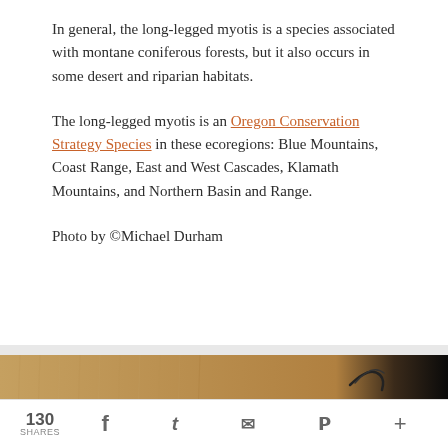In general, the long-legged myotis is a species associated with montane coniferous forests, but it also occurs in some desert and riparian habitats.
The long-legged myotis is an Oregon Conservation Strategy Species in these ecoregions: Blue Mountains, Coast Range, East and West Cascades, Klamath Mountains, and Northern Basin and Range.
Photo by ©Michael Durham
[Figure (photo): Close-up photo of a long-legged myotis bat with golden-brown fur against a dark/black background, showing the fur texture and a claw/wing tip.]
130 SHARES  [Facebook] [Twitter] [Email] [Pinterest] [More]